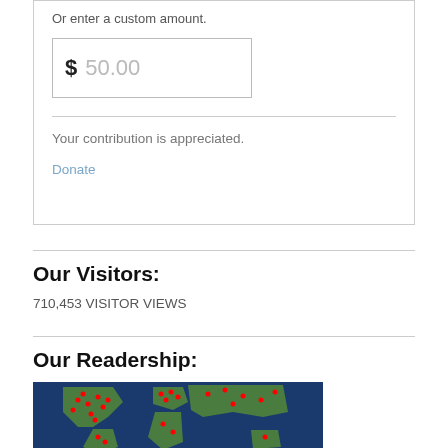Or enter a custom amount.
$ 50.00
Your contribution is appreciated.
Donate
Our Visitors:
710,453 VISITOR VIEWS
Our Readership:
[Figure (map): World map with red dots indicating readership locations, dark blue ocean background with green landmasses]